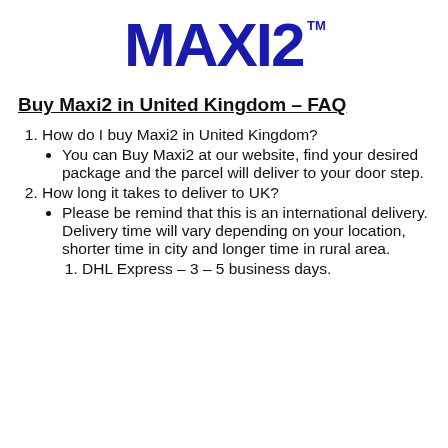[Figure (logo): MAXI2 logo in bold dark blue/navy text with TM mark]
Buy Maxi2 in United Kingdom – FAQ
1. How do I buy Maxi2 in United Kingdom?
You can Buy Maxi2 at our website, find your desired package and the parcel will deliver to your door step.
2. How long it takes to deliver to UK?
Please be remind that this is an international delivery. Delivery time will vary depending on your location, shorter time in city and longer time in rural area.
1. DHL Express – 3 – 5 business days.